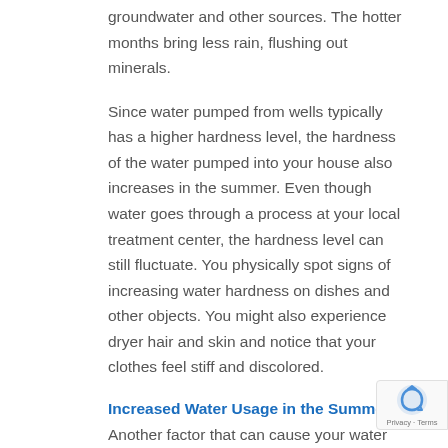groundwater and other sources. The hotter months bring less rain, flushing out minerals.
Since water pumped from wells typically has a higher hardness level, the hardness of the water pumped into your house also increases in the summer. Even though water goes through a process at your local treatment center, the hardness level can still fluctuate. You physically spot signs of increasing water hardness on dishes and other objects. You might also experience dryer hair and skin and notice that your clothes feel stiff and discolored.
Increased Water Usage in the Summer
Another factor that can cause your water softener to work harder during the summer is the amount of water you use. According to the United States Environmental Protection Agency, the average family's water usage